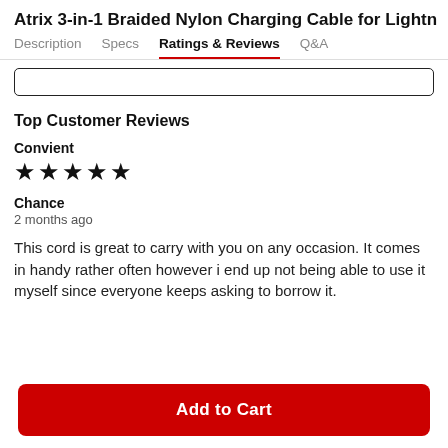Atrix 3-in-1 Braided Nylon Charging Cable for Lightn
Ratings & Reviews
Top Customer Reviews
Convient
★★★★★
Chance
2 months ago
This cord is great to carry with you on any occasion. It comes in handy rather often however i end up not being able to use it myself since everyone keeps asking to borrow it.
Add to Cart